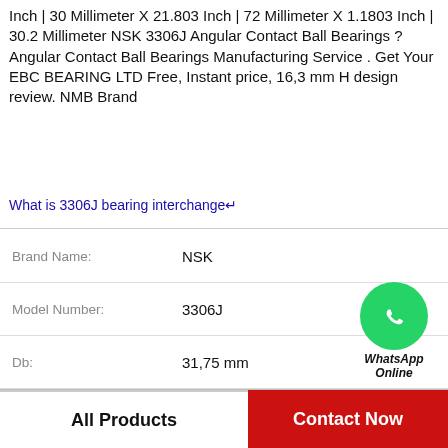Inch | 30 Millimeter X 21.803 Inch | 72 Millimeter X 1.1803 Inch | 30.2 Millimeter NSK 3306J Angular Contact Ball Bearings ? Angular Contact Ball Bearings Manufacturing Service . Get Your EBC BEARING LTD Free, Instant price, 16,3 mm H design review. NMB Brand
What is 3306J bearing interchange↵
| Field | Value |
| --- | --- |
| Brand Name: | NSK |
| Model Number: | 3306J |
| Db: | 31,75 mm |
| H: | 16,3 mm |
| Brand: | NMB |
| Bearing number: | HRT20E |
[Figure (logo): WhatsApp Online green circle icon with phone handset, with text 'WhatsApp Online' below]
All Products
Contact Now